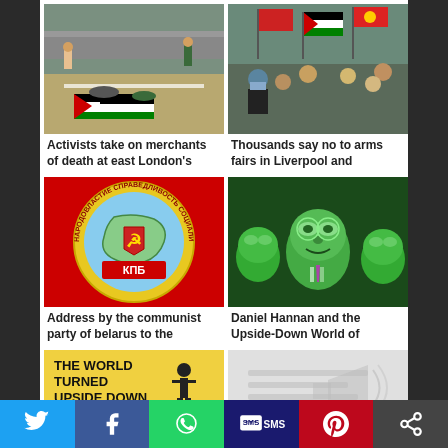[Figure (photo): Activists lying on road with Palestinian flag at east London]
Activists take on merchants of death at east London's
[Figure (photo): Crowd of protesters with flags including Palestinian flag in Liverpool]
Thousands say no to arms fairs in Liverpool and
[Figure (logo): Communist Party of Belarus (KPB) red circular badge with hammer and sickle on map of Belarus]
Address by the communist party of belarus to the
[Figure (illustration): Green-tinted illustration of Daniel Hannan and other figures]
Daniel Hannan and the Upside-Down World of
[Figure (photo): Book cover: The World Turned Upside Down with silhouette figure]
[Figure (photo): Partial image with light colored background and faint shapes]